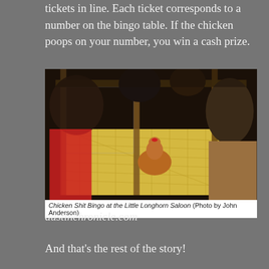tickets in line. Each ticket corresponds to a number on the bingo table. If the chicken poops on your number, you win a cash prize.
[Figure (photo): A chicken inside a wooden cage with wire mesh sides and a yellow gridded floor, surrounded by children looking on closely. The scene is from Chicken Shit Bingo at the Little Longhorn Saloon.]
Chicken Shit Bingo at the Little Longhorn Saloon (Photo by John Anderson)
austinchronicle.com
And that's the rest of the story!